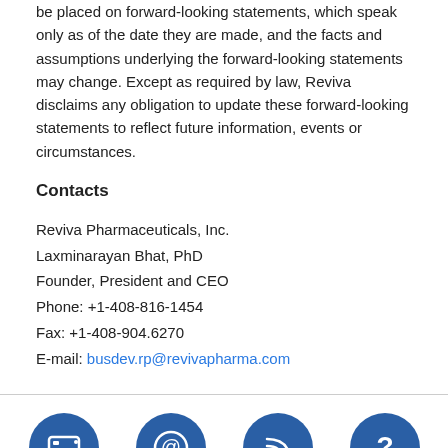be placed on forward-looking statements, which speak only as of the date they are made, and the facts and assumptions underlying the forward-looking statements may change. Except as required by law, Reviva disclaims any obligation to update these forward-looking statements to reflect future information, events or circumstances.
Contacts
Reviva Pharmaceuticals, Inc.
Laxminarayan Bhat, PhD
Founder, President and CEO
Phone: +1-408-816-1454
Fax: +1-408-904.6270
E-mail: busdev.rp@revivapharma.com
[Figure (infographic): Footer with four blue circular icons: Print Page, Email Alerts, RSS, FAQs]
Print Page   Email Alerts   RSS   FAQs